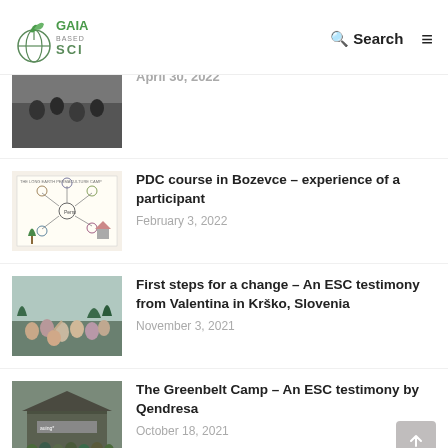GAIA based SCI — Search
April 30, 2022
PDC course in Bozevce – experience of a participant
February 3, 2022
First steps for a change – An ESC testimony from Valentina in Krško, Slovenia
November 3, 2021
The Greenbelt Camp – An ESC testimony by Qendresa
October 18, 2021